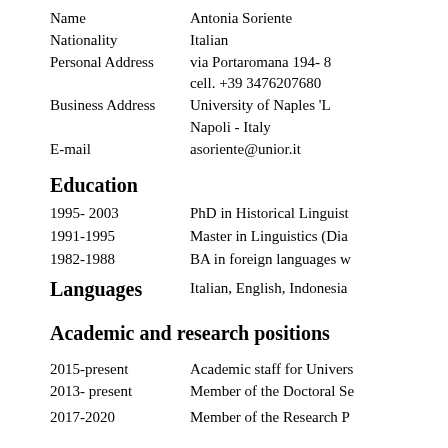Name   Antonia Soriente
Nationality   Italian
Personal Address   via Portaromana 194- 8
cell. +39 3476207680
Business Address   University of Naples 'L
Napoli - Italy
E-mail   asoriente@unior.it
Education
1995- 2003   PhD in Historical Linguist
1991-1995   Master  in Linguistics (Dia
1982-1988   BA in foreign languages w
Languages   Italian, English, Indonesia
Academic and research positions
2015-present   Academic staff for Univers
2013- present   Member of the Doctoral Se
2017-2020   Member of the Research P